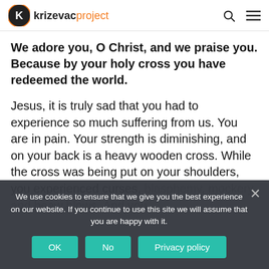krizevacproject
We adore you, O Christ, and we praise you. Because by your holy cross you have redeemed the world.
Jesus, it is truly sad that you had to experience so much suffering from us. You are in pain. Your strength is diminishing, and on your back is a heavy wooden cross. While the cross was being put on your shoulders, you experienced curses, blasphemy, mockery and heaw blows. And you
We use cookies to ensure that we give you the best experience on our website. If you continue to use this site we will assume that you are happy with it.